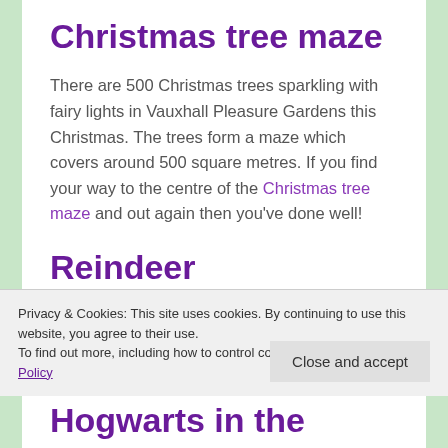Christmas tree maze
There are 500 Christmas trees sparkling with fairy lights in Vauxhall Pleasure Gardens this Christmas. The trees form a maze which covers around 500 square metres. If you find your way to the centre of the Christmas tree maze and out again then you’ve done well!
Reindeer
Privacy & Cookies: This site uses cookies. By continuing to use this website, you agree to their use.
To find out more, including how to control cookies, see here: Cookie Policy
Hogwarts in the snow